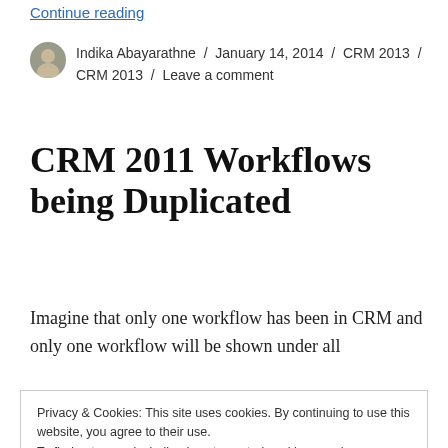Continue reading
Indika Abayarathne / January 14, 2014 / CRM 2013 / CRM 2013 / Leave a comment
CRM 2011 Workflows being Duplicated
Imagine that only one workflow has been in CRM and only one workflow will be shown under all
Privacy & Cookies: This site uses cookies. By continuing to use this website, you agree to their use.
To find out more, including how to control cookies, see here: Cookie Policy
Close and accept
dropdown it gives a default filter conditions as